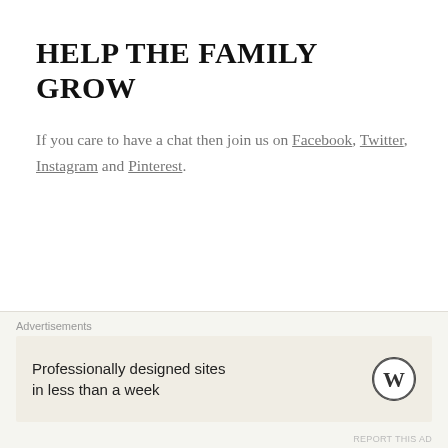HELP THE FAMILY GROW
If you care to have a chat then join us on Facebook, Twitter, Instagram and Pinterest.
Advertisements
[Figure (infographic): WordPress advertisement banner with text 'Professionally designed sites in less than a week' and WordPress logo]